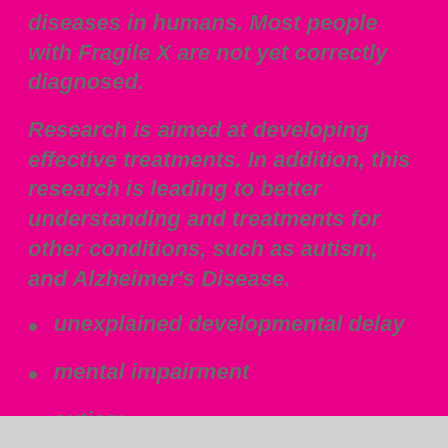diseases in humans. Most people with Fragile X are not yet correctly diagnosed.
Research is aimed at developing effective treatments. In addition, this research is leading to better understanding and treatments for other conditions, such as autism, and Alzheimer's Disease.
unexplained developmental delay
mental impairment
autism